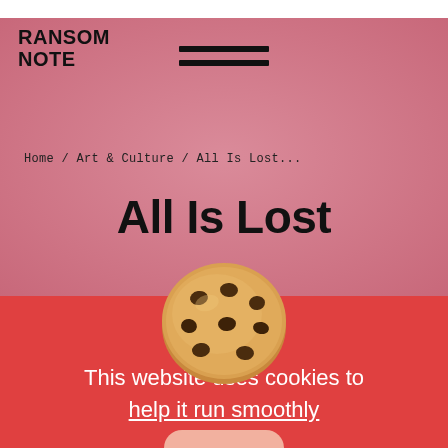RANSOM NOTE
Home / Art & Culture / All Is Lost...
All Is Lost
[Figure (illustration): A chocolate chip cookie illustration centered on the page, straddling the pink and red background sections.]
This website uses cookies to help it run smoothly